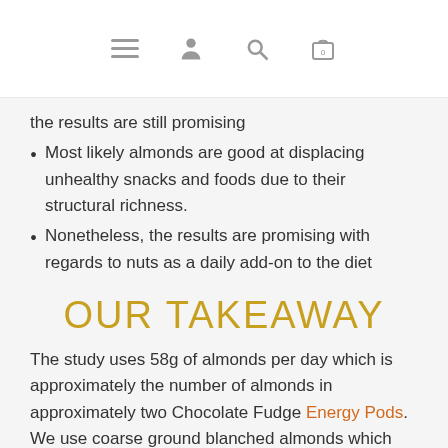[navigation icons: menu, person, search, cart(0)]
the results are still promising
Most likely almonds are good at displacing unhealthy snacks and foods due to their structural richness.
Nonetheless, the results are promising with regards to nuts as a daily add-on to the diet
OUR TAKEAWAY
The study uses 58g of almonds per day which is approximately the number of almonds in approximately two Chocolate Fudge Energy Pods. We use coarse ground blanched almonds which may be